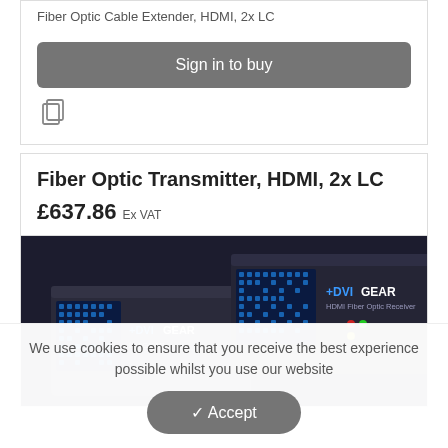Fiber Optic Cable Extender, HDMI, 2x LC
Sign in to buy
Fiber Optic Transmitter, HDMI, 2x LC
£637.86 Ex VAT
[Figure (photo): Two DVIGear HDMI Fiber Optic devices (transmitter and receiver) shown side by side, with blue LED grid pattern on front panels and DVIGear branding]
We use cookies to ensure that you receive the best experience possible whilst you use our website
Accept